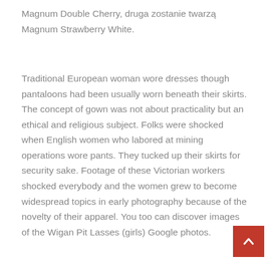Magnum Double Cherry, druga zostanie twarzą Magnum Strawberry White.
Traditional European woman wore dresses though pantaloons had been usually worn beneath their skirts. The concept of gown was not about practicality but an ethical and religious subject. Folks were shocked when English women who labored at mining operations wore pants. They tucked up their skirts for security sake. Footage of these Victorian workers shocked everybody and the women grew to become widespread topics in early photography because of the novelty of their apparel. You too can discover images of the Wigan Pit Lasses (girls) Google photos.